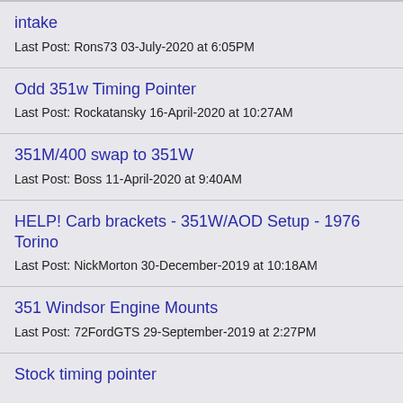intake
Last Post: Rons73 03-July-2020 at 6:05PM
Odd 351w Timing Pointer
Last Post: Rockatansky 16-April-2020 at 10:27AM
351M/400 swap to 351W
Last Post: Boss 11-April-2020 at 9:40AM
HELP! Carb brackets - 351W/AOD Setup - 1976 Torino
Last Post: NickMorton 30-December-2019 at 10:18AM
351 Windsor Engine Mounts
Last Post: 72FordGTS 29-September-2019 at 2:27PM
Stock timing pointer